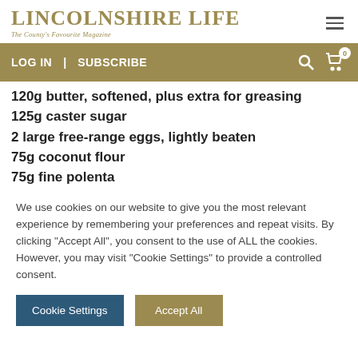LINCOLNSHIRE LIFE — The County's Favourite Magazine
LOG IN | SUBSCRIBE
120g butter, softened, plus extra for greasing
125g caster sugar
2 large free-range eggs, lightly beaten
75g coconut flour
75g fine polenta
We use cookies on our website to give you the most relevant experience by remembering your preferences and repeat visits. By clicking "Accept All", you consent to the use of ALL the cookies. However, you may visit "Cookie Settings" to provide a controlled consent.